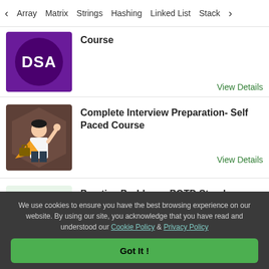< Array   Matrix   Strings   Hashing   Linked List   Stack >
Course
View Details
Complete Interview Preparation- Self Paced Course
View Details
Practice Problems, POTD Streak, Weekly Contests & More!
View Details
We use cookies to ensure you have the best browsing experience on our website. By using our site, you acknowledge that you have read and understood our Cookie Policy & Privacy Policy
Got It !